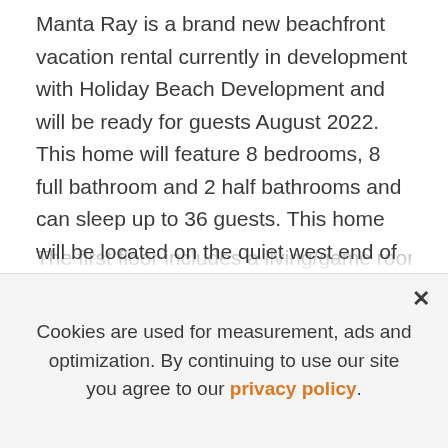Manta Ray is a brand new beachfront vacation rental currently in development with Holiday Beach Development and will be ready for guests August 2022. This home will feature 8 bedrooms, 8 full bathroom and 2 half bathrooms and can sleep up to 36 guests. This home will be located on the quiet west end of Panama City Beach. This home will be very similar to our home called "Sea Breeze"
The first floor includes a living/game room, laundry
Cookies are used for measurement, ads and optimization. By continuing to use our site you agree to our privacy policy.